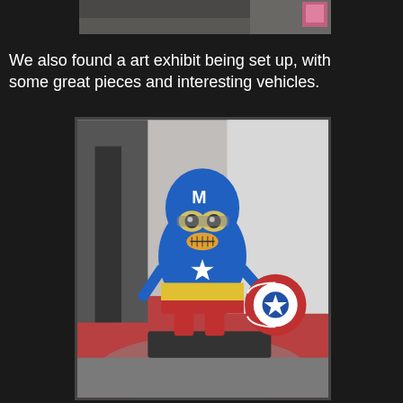[Figure (photo): Partial view of a street or outdoor scene, cropped at top of page]
We also found a art exhibit being set up, with some great pieces and interesting vehicles.
[Figure (photo): A Captain America-themed Minion figurine/statue standing on a dark mat on a red floor inside what appears to be a shop or exhibit entrance. The minion holds a Captain America shield on its right side and has the Captain America costume with a white 'M' on the helmet.]